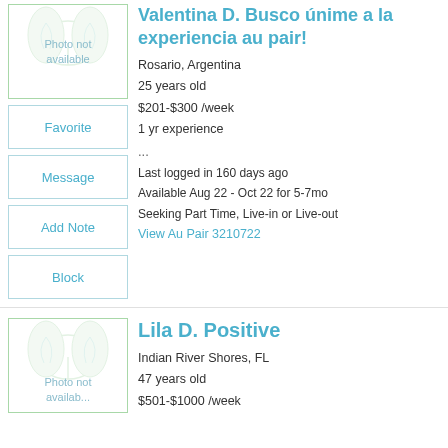Valentina D. Busco únime a la experiencia au pair!
Rosario, Argentina
25 years old
$201-$300 /week
1 yr experience
...
Last logged in 160 days ago
Available Aug 22 - Oct 22 for 5-7mo
Seeking Part Time, Live-in or Live-out
View Au Pair 3210722
Lila D. Positive
Indian River Shores, FL
47 years old
$501-$1000 /week